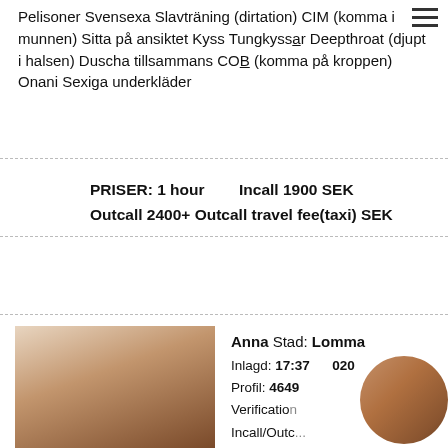Felisoner Svensexa Slavtraning (dirtation) CIM (komma i munnen) Sitta på ansiktet Kyss Tungkyss Deepthroat (djupt i halsen) Duscha tillsammans COB (komma på kroppen) Onani Sexiga underkläder
PRISER: 1 hour    Incall 1900 SEK
Outcall 2400+ Outcall travel fee(taxi) SEK
Prioritetsannons
Anna Stad: Lomma
Inlagd: 17:37 ...2020
Profil: 4649...
Verification...
Incall/Outc...
Outcall
Info